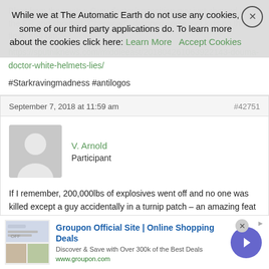Blast from the past: a Grey doctor/opposition guy just showed up at the ER and shouted “Chemical!”, dropped some wet kids on the floor, and ran:
https://sputniknews.com/middleeast/201804261063922143-douma-doctor-white-helmets-lies/
#Starkravingmadness #antilogos
September 7, 2018 at 11:59 am
#42751
V. Arnold
Participant
If I remember, 200,000lbs of explosives went off and no one was killed except a guy accidentally in a turnip patch – an amazing feat in
Groupon Official Site | Online Shopping Deals
Discover & Save with Over 300k of the Best Deals
www.groupon.com
While we at The Automatic Earth do not use any cookies, some of our third party applications do. To learn more about the cookies click here:
Learn More
Accept Cookies